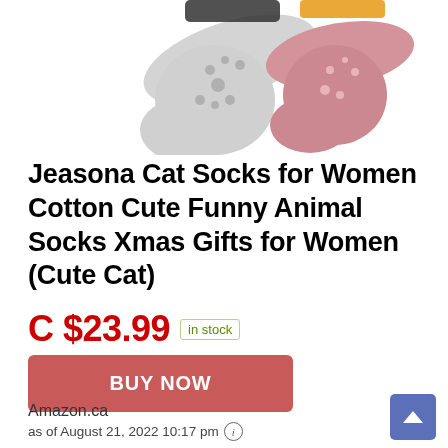[Figure (photo): Partial view of socks from above — a gray sock with paw prints and a pink/mauve sock with white dots, cropped at the top.]
Jeasona Cat Socks for Women Cotton Cute Funny Animal Socks Xmas Gifts for Women (Cute Cat)
C $23.99  in stock
BUY NOW
Amazon.ca
as of August 21, 2022 10:17 pm ℹ